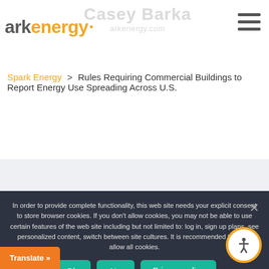ark energy
Spark Energy > Rules Requiring Commercial Buildings to Report Energy Use Spreading Across U.S.
In order to provide complete functionality, this web site needs your explicit consent to store browser cookies. If you don't allow cookies, you may not be able to use certain features of the web site including but not limited to: log in, sign up plans, see personalized content, switch between site cultures. It is recommended that you allow all cookies.
Ok | No | Privacy policy
Translate »